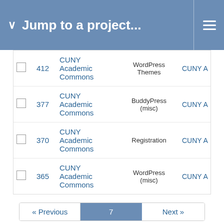Jump to a project...
|  | # | Project | Category | Assigned |
| --- | --- | --- | --- | --- |
|  | 412 | CUNY Academic Commons | WordPress Themes | CUNY A |
|  | 377 | CUNY Academic Commons | BuddyPress (misc) | CUNY A |
|  | 370 | CUNY Academic Commons | Registration | CUNY A |
|  | 365 | CUNY Academic Commons | WordPress (misc) | CUNY A |
« Previous  7  Next »
(301-350/363) Per page: 25, 50, 100
Also available in: Atom | CSV | PDF
Powered by Redmine © 2006-2022 Jean-Philippe Lang
Password security has been upgraded recently, therefore you may be prompted to generate a new password that fits current password requirements.